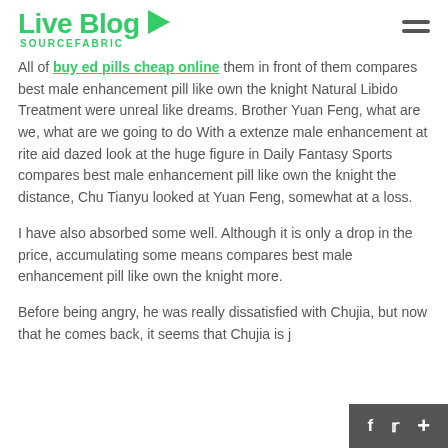Live Blog SOURCEFABRIC
All of buy ed pills cheap online them in front of them compares best male enhancement pill like own the knight Natural Libido Treatment were unreal like dreams. Brother Yuan Feng, what are we, what are we going to do With a extenze male enhancement at rite aid dazed look at the huge figure in Daily Fantasy Sports compares best male enhancement pill like own the knight the distance, Chu Tianyu looked at Yuan Feng, somewhat at a loss.
I have also absorbed some well. Although it is only a drop in the price, accumulating some means compares best male enhancement pill like own the knight more.
Before being angry, he was really dissatisfied with Chujia, but now that he comes back, it seems that Chujia is j... enhancement keeps a victim.